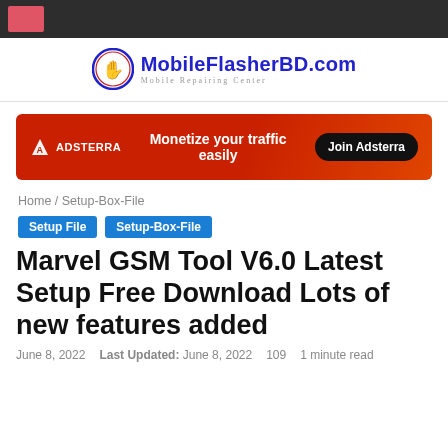MobileFlasherBD.com — Mobile Repairing Center
[Figure (logo): MobileFlasherBD.com logo with hand icon and tagline 'Mobile Repairing Center']
[Figure (infographic): Adsterra ad banner: orange/red background, 'ADSTERRA' logo, 'Monetize your traffic easily', 'Join Adsterra' button]
Home / Setup-Box-File
Setup File   Setup-Box-File
Marvel GSM Tool V6.0 Latest Setup Free Download Lots of new features added
June 8, 2022   Last Updated: June 8, 2022   109   1 minute read